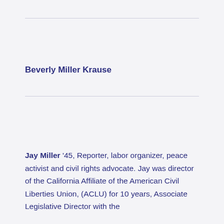Beverly Miller Krause
Jay Miller '45, Reporter, labor organizer, peace activist and civil rights advocate. Jay was director of the California Affiliate of the American Civil Liberties Union, (ACLU) for 10 years, Associate Legislative Director with the